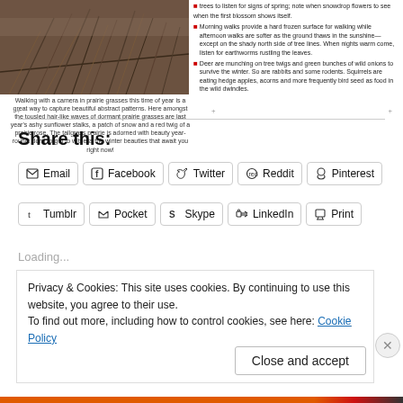[Figure (photo): Close-up photo of prairie grasses and dried plant stalks in winter]
Walking with a camera in prairie grasses this time of year is a great way to capture beautiful abstract patterns. Here amongst the tousled hair-like waves of dormant prairie grasses are last year's ashy sunflower stalks, a patch of snow and a red twig of a prairie rose. The tallgrass prairie is adorned with beauty year-round: don't forget to witness the winter beauties that await you right now!
Morning walks provide a hard frozen surface for walking while afternoon walks are softer as the ground thaws in the sunshine—except on the shady north side of tree lines. When nights warm come, listen for earthworms rustling the leaves.
Deer are munching on tree twigs and green bunches of wild onions to survive the winter. So are rabbits and some rodents. Squirrels are eating hedge apples, acorns and more frequently bird seed as food in the wild dwindles.
Share this:
Email
Facebook
Twitter
Reddit
Pinterest
Tumblr
Pocket
Skype
LinkedIn
Print
Loading...
Privacy & Cookies: This site uses cookies. By continuing to use this website, you agree to their use.
To find out more, including how to control cookies, see here: Cookie Policy